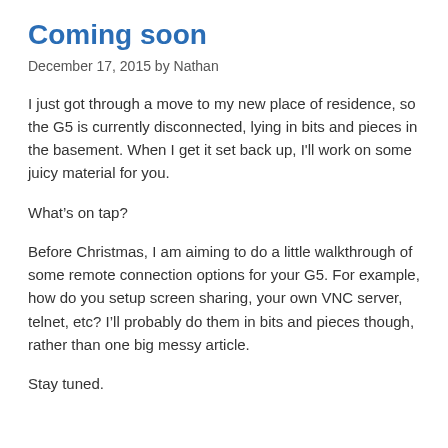Coming soon
December 17, 2015 by Nathan
I just got through a move to my new place of residence, so the G5 is currently disconnected, lying in bits and pieces in the basement. When I get it set back up, I'll work on some juicy material for you.
What’s on tap?
Before Christmas, I am aiming to do a little walkthrough of some remote connection options for your G5. For example, how do you setup screen sharing, your own VNC server, telnet, etc? I’ll probably do them in bits and pieces though, rather than one big messy article.
Stay tuned.